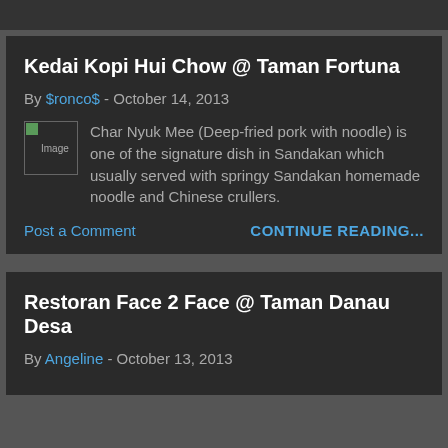Kedai Kopi Hui Chow @ Taman Fortuna
By $ronco$ - October 14, 2013
Char Nyuk Mee (Deep-fried pork with noodle) is one of the signature dish in Sandakan which usually served with springy Sandakan homemade noodle and Chinese crullers.
Post a Comment
CONTINUE READING...
Restoran Face 2 Face @ Taman Danau Desa
By Angeline - October 13, 2013